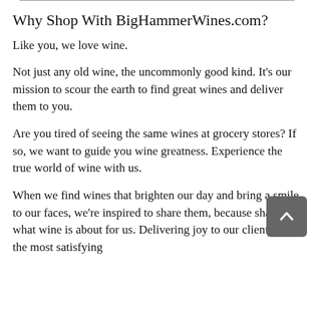Why Shop With BigHammerWines.com?
Like you, we love wine.
Not just any old wine, the uncommonly good kind. It's our mission to scour the earth to find great wines and deliver them to you.
Are you tired of seeing the same wines at grocery stores? If so, we want to guide you wine greatness. Experience the true world of wine with us.
When we find wines that brighten our day and bring a smile to our faces, we're inspired to share them, because sharing is what wine is about for us. Delivering joy to our clients is the most satisfying